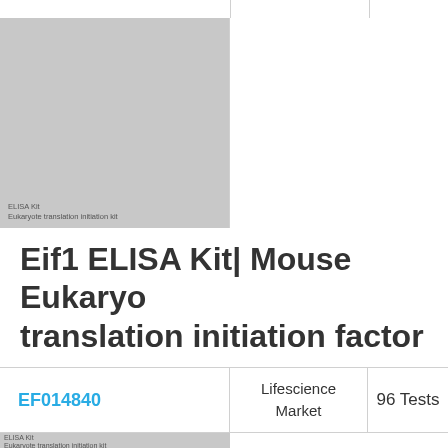[Figure (photo): Thumbnail image of ELISA kit product with small text overlay reading 'ELISA Kit' and 'Eukaryote translation initiation kit']
Eif1 ELISA Kit| Mouse Eukaryote translation initiation factor
|  | Supplier | Size |
| --- | --- | --- |
| EF014840 | Lifescience Market | 96 Tests |
[Figure (photo): Thumbnail image of ELISA kit product with small text overlay at bottom]